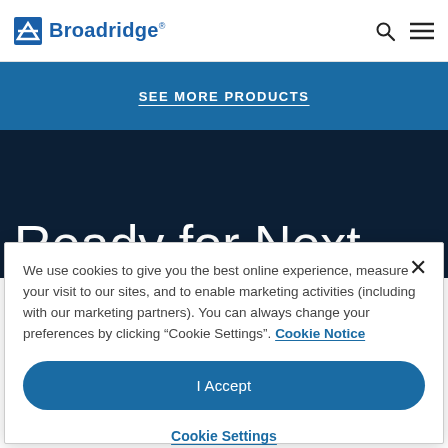Broadridge
SEE MORE PRODUCTS
Ready for Next
We use cookies to give you the best online experience, measure your visit to our sites, and to enable marketing activities (including with our marketing partners). You can always change your preferences by clicking “Cookie Settings”. Cookie Notice
I Accept
Cookie Settings